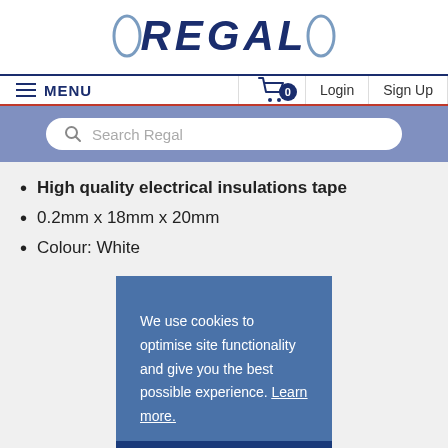[Figure (logo): REGAL logo with angular bracket decorations on either side, dark navy blue bold italic text]
≡ MENU
0 (cart badge)
Login
Sign Up
Search Regal
High quality electrical insulations tape
0.2mm x 18mm x 20mm
Colour: White
We use cookies to optimise site functionality and give you the best possible experience. Learn more.
I Accept
Account